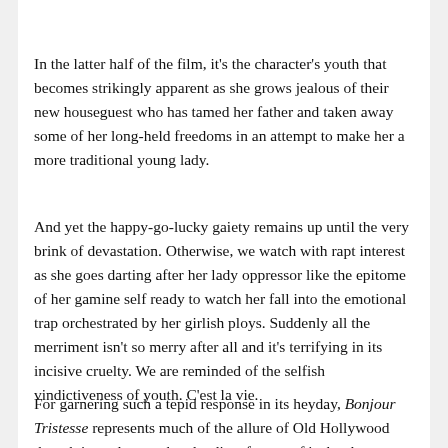In the latter half of the film, it's the character's youth that becomes strikingly apparent as she grows jealous of their new houseguest who has tamed her father and taken away some of her long-held freedoms in an attempt to make her a more traditional young lady.
And yet the happy-go-lucky gaiety remains up until the very brink of devastation. Otherwise, we watch with rapt interest as she goes darting after her lady oppressor like the epitome of her gamine self ready to watch her fall into the emotional trap orchestrated by her girlish ploys. Suddenly all the merriment isn't so merry after all and it's terrifying in its incisive cruelty. We are reminded of the selfish vindictiveness of youth. C'est la vie.
For garnering such a tepid response in its heyday, Bonjour Tristesse represents much of the allure of Old Hollywood though it rarely gets the plaudits of some of its brethren. Somehow, between Preminger and Seberg, Niven and Kerr, and sweeping Cinemascope, it's easy for the picture